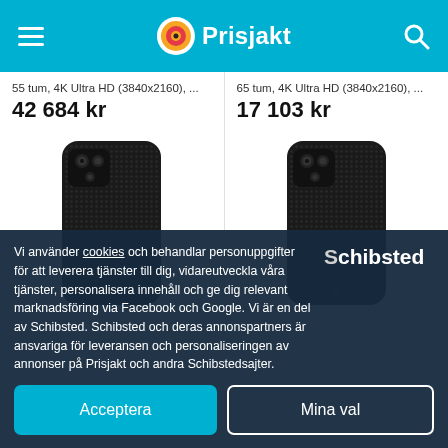Prisjakt
55 tum, 4K Ultra HD (3840x2160), ...
42 684 kr
65 tum, 4K Ultra HD (3840x2160), ...
17 103 kr
[Figure (photo): Two black Nillkin Textured S phone cases for Samsung Galaxy S21, shown from the back]
Vi använder cookies och behandlar personuppgifter för att leverera tjänster till dig, vidareutveckla våra tjänster, personalisera innehåll och ge dig relevant marknadsföring via Facebook och Google. Vi är en del av Schibsted. Schibsted och deras annonspartners är ansvariga för leveransen och personaliseringen av annonser på Prisjakt och andra Schibstedsajter.
Acceptera
Mina val